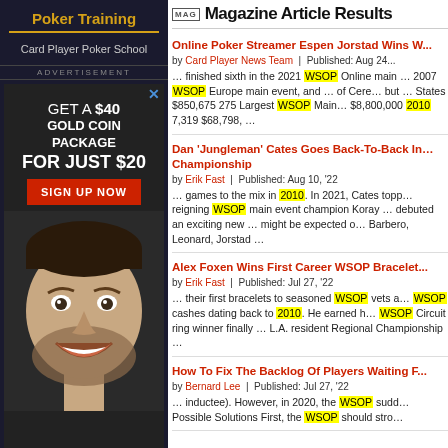Poker Training
Card Player Poker School
[Figure (photo): Advertisement: Get a $40 Gold Coin Package for just $20, Sign Up Now button, photo of smiling man]
MAG Magazine Article Results
Online Poker Streamer Espen Jorstad Wins W...
by Card Player News Team | Published: Aug 24... ... finished sixth in the 2021 WSOP Online main ... 2007 WSOP Europe main event, and ... of Cere... but ... States $850,675 275 Largest WSOP Main... $8,800,000 2010 7,319 $68,798, ...
Dan 'Jungleman' Cates Goes Back-To-Back In... Championship
by Erik Fast | Published: Aug 10, '22 ... games to the mix in 2010. In 2021, Cates topp... reigning WSOP main event champion Koray ... debuted an exciting new ... might be expected o... Barbero, Leonard, Jorstad ...
Alex Foxen Wins First Career WSOP Bracelet
by Erik Fast | Published: Jul 27, '22 ... their first bracelets to seasoned WSOP vets a... WSOP cashes dating back to 2010. He earned h... WSOP Circuit ring winner finally ... L.A. resident Regional Championship ...
How To Fix The Backlog Of Players Waiting F...
by Bernard Lee | Published: Jul 27, '22 ... inductee). However, in 2020, the WSOP sudd... Possible Solutions First, the WSOP should stro...